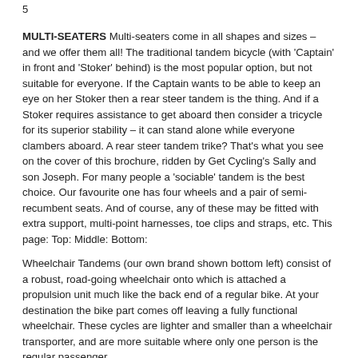5
MULTI-SEATERS Multi-seaters come in all shapes and sizes – and we offer them all! The traditional tandem bicycle (with 'Captain' in front and 'Stoker' behind) is the most popular option, but not suitable for everyone. If the Captain wants to be able to keep an eye on her Stoker then a rear steer tandem is the thing. And if a Stoker requires assistance to get aboard then consider a tricycle for its superior stability – it can stand alone while everyone clambers aboard. A rear steer tandem trike? That's what you see on the cover of this brochure, ridden by Get Cycling's Sally and son Joseph. For many people a 'sociable' tandem is the best choice. Our favourite one has four wheels and a pair of semi-recumbent seats. And of course, any of these may be fitted with extra support, multi-point harnesses, toe clips and straps, etc. This page: Top: Middle: Bottom:
Wheelchair Tandems (our own brand shown bottom left) consist of a robust, road-going wheelchair onto which is attached a propulsion unit much like the back end of a regular bike. At your destination the bike part comes off leaving a fully functional wheelchair. These cycles are lighter and smaller than a wheelchair transporter, and are more suitable where only one person is the regular passenger.